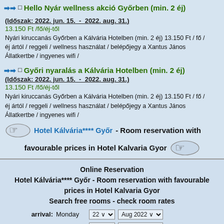Hello Nyár wellness akció Győrben (min. 2 éj)
(Időszak: 2022. jun. 15.  -  2022. aug. 31.)
13.150 Ft /fő/éj-től
Nyári kiruccanás Győrben a Kálvária Hotelben (min. 2 éj) 13.150 Ft / fő / éj ártól / reggeli / wellness használat / belépőjegy a Xantus János Állatkertbe / ingyenes wifi /
Győri nyaralás a Kálvária Hotelben (min. 2 éj)
(Időszak: 2022. jun. 15.  -  2022. aug. 31.)
13.150 Ft /fő/éj-től
Nyári kiruccanás Győrben a Kálvária Hotelben (min. 2 éj) 13.150 Ft / fő / éj ártól / reggeli / wellness használat / belépőjegy a Xantus János Állatkertbe / ingyenes wifi /
Hotel Kálvária**** Győr - Room reservation with favourable prices in Hotel Kalvaria Gyor
Online Reservation
Hotel Kálvária**** Győr - Room reservation with favourable prices in Hotel Kalvaria Gyor
Search free rooms - check room rates
arrival:
departure: